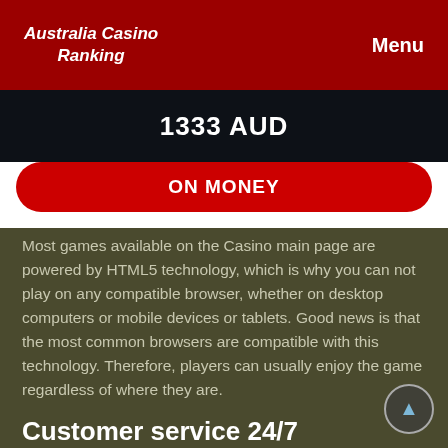Australia Casino Ranking | Menu
1333 AUD
ON MONEY
Most games available on the Casino main page are powered by HTML5 technology, which is why you can not play on any compatible browser, whether on desktop computers or mobile devices or tablets. Good news is that the most common browsers are compatible with this technology. Therefore, players can usually enjoy the game regardless of where they are.
Customer service 24/7 permanently
High quality customer service is an indispensable